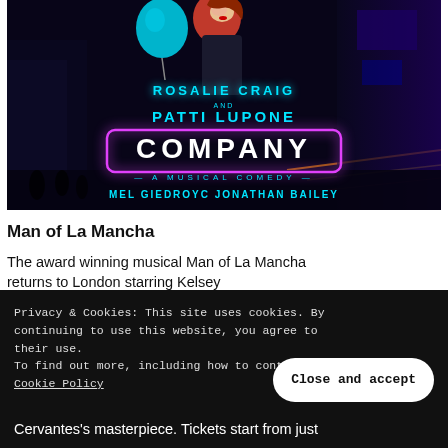[Figure (illustration): Theater show poster for 'Company: A Musical Comedy' featuring Rosalie Craig and Patti LuPone, with city background, neon signage, and cast members Mel Giedroyc and Jonathan Bailey]
Man of La Mancha
The award winning musical Man of La Mancha returns to London starring Kelsey
Privacy & Cookies: This site uses cookies. By continuing to use this website, you agree to their use.
To find out more, including how to control cookies, see here:
Cookie Policy
Close and accept
Cervantes's masterpiece. Tickets start from just